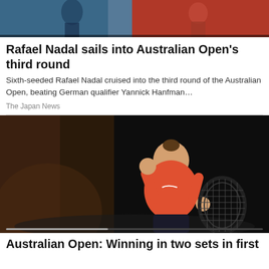[Figure (photo): Photo of a tennis player mid-action, cropped at top of page]
Rafael Nadal sails into Australian Open's third round
Sixth-seeded Rafael Nadal cruised into the third round of the Australian Open, beating German qualifier Yannick Hanfman…
The Japan News
[Figure (photo): Photo of a female tennis player in an orange Nike shirt holding a tennis racket and raising her fist in celebration, against a dark background]
Australian Open: Winning in two sets in first